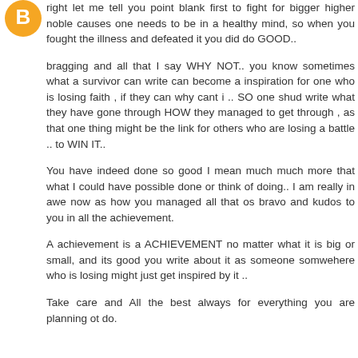[Figure (logo): Orange circular Blogger icon with a white 'B' letter]
right let me tell you point blank first to fight for bigger higher noble causes one needs to be in a healthy mind, so when you fought the illness and defeated it you did do GOOD..
bragging and all that I say WHY NOT.. you know sometimes what a survivor can write can become a inspiration for one who is losing faith , if they can why cant i .. SO one shud write what they have gone through HOW they managed to get through , as that one thing might be the link for others who are losing a battle .. to WIN IT..
You have indeed done so good I mean much much more that what I could have possible done or think of doing.. I am really in awe now as how you managed all that os bravo and kudos to you in all the achievement.
A achievement is a ACHIEVEMENT no matter what it is big or small, and its good you write about it as someone somwehere who is losing might just get inspired by it ..
Take care and All the best always for everything you are planning ot do.